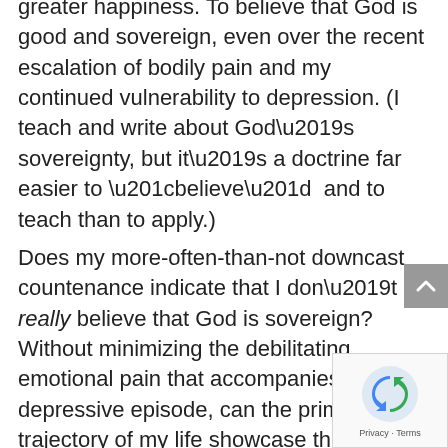greater happiness. To believe that God is good and sovereign, even over the recent escalation of bodily pain and my continued vulnerability to depression. (I teach and write about God’s sovereignty, but it’s a doctrine far easier to “believe”  and to teach than to apply.)
Does my more-often-than-not downcast countenance indicate that I don’t really believe that God is sovereign?  Without minimizing the debilitating emotional pain that accompanies a depressive episode, can the primary trajectory of my life showcase the joy that God desires for His people? Have I given excessive attention to the difficulty of living with major depression at the exclusion of reveling in the benefits of my faith in Christ?